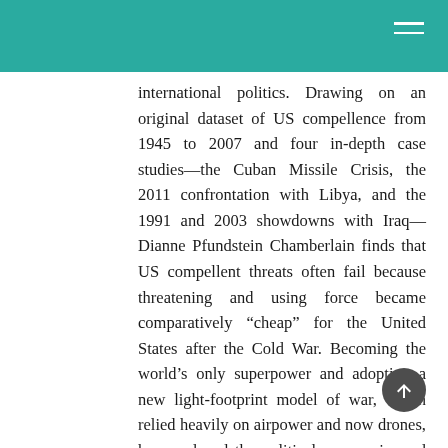international politics. Drawing on an original dataset of US compellence from 1945 to 2007 and four in-depth case studies—the Cuban Missile Crisis, the 2011 confrontation with Libya, and the 1991 and 2003 showdowns with Iraq—Dianne Pfundstein Chamberlain finds that US compellent threats often fail because threatening and using force became comparatively “cheap” for the United States after the Cold War. Becoming the world’s only superpower and adopting a new light-footprint model of war, which relied heavily on airpower and now drones, have reduced the political, economic, and human costs that US policymakers